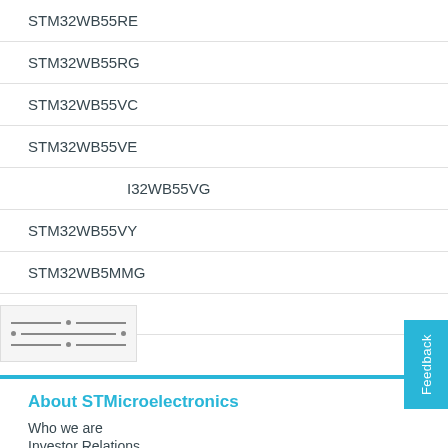STM32WB55RE
STM32WB55RG
STM32WB55VC
STM32WB55VE
STM32WB55VG
STM32WB55VY
STM32WB5MMG
Product Filters
About STMicroelectronics
Who we are
Investor Relations